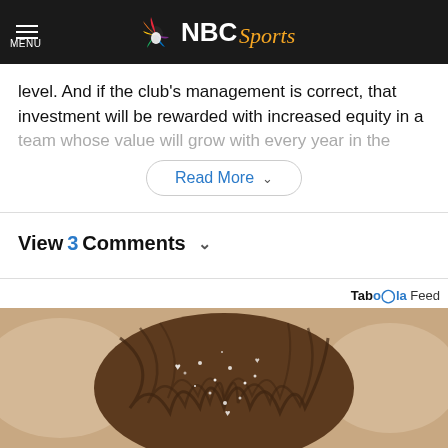MENU | NBC Sports
level. And if the club's management is correct, that investment will be rewarded with increased equity in a team whose value will grow with every year in the
Read More
View 3 Comments
[Figure (illustration): Taboola Feed advertisement showing a illustrated image of flowing brown hair with sparkle/heart details on a beige/tan background.]